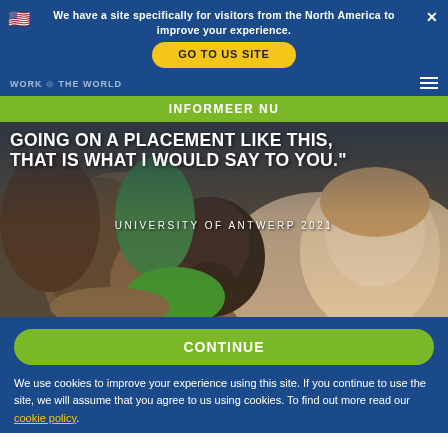We have a site specifically for visitors from the North America to improve your experience.
GO TO US SITE
WORK THE WORLD
INFORMEER NU
[Figure (photo): Photo of a group of African children and a young white woman taking a selfie together, smiling. The photo has bold white text overlay reading: 'GOING ON A PLACEMENT LIKE THIS, THAT IS WHAT I WOULD SAY TO YOU.' and subtext 'UNIVERSITY OF ANTWERP 2021']
CONTINUE
We use cookies to improve your experience using this site. If you continue to use the site, we will assume that you agree to us using cookies. To find out more read our cookie policy.